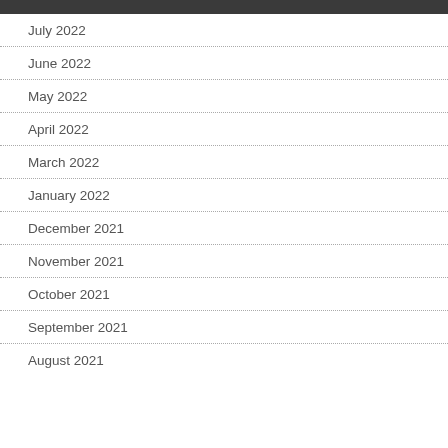July 2022
June 2022
May 2022
April 2022
March 2022
January 2022
December 2021
November 2021
October 2021
September 2021
August 2021